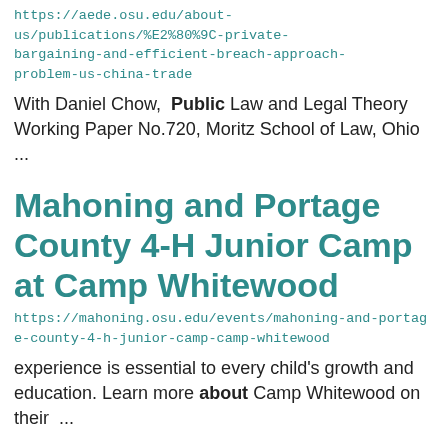https://aede.osu.edu/about-us/publications/%E2%80%9C-private-bargaining-and-efficient-breach-approach-problem-us-china-trade
With Daniel Chow,  Public Law and Legal Theory Working Paper No.720, Moritz School of Law, Ohio ...
Mahoning and Portage County 4-H Junior Camp at Camp Whitewood
https://mahoning.osu.edu/events/mahoning-and-portage-county-4-h-junior-camp-camp-whitewood
experience is essential to every child's growth and education. Learn more about Camp Whitewood on their ...